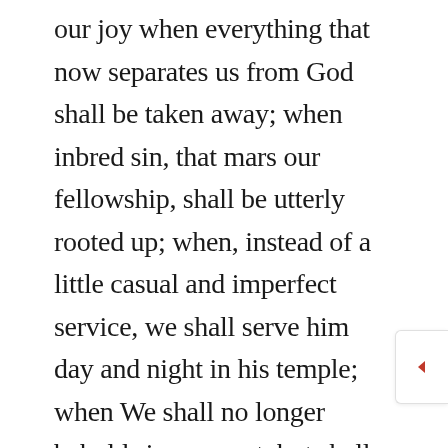our joy when everything that now separates us from God shall be taken away; when inbred sin, that mars our fellowship, shall be utterly rooted up; when, instead of a little casual and imperfect service, we shall serve him day and night in his temple; when We shall no longer behold sin rampant, but shall see holiness universal all around; when there shall be no idle words to vex our ears, no cursing without, and no thought of sin within to molest us; when the hymn of his glory shall for ever make glad our ear, and